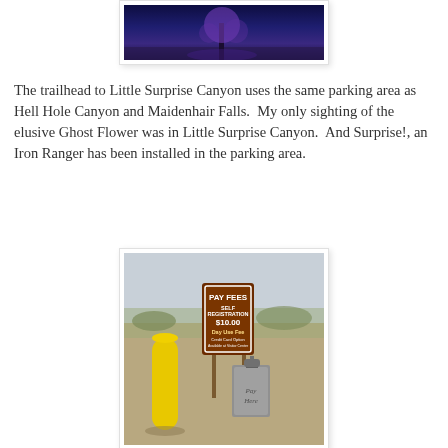[Figure (photo): Night-time photo of a tree illuminated with purple/blue light, snow or frost on the ground, dark blue sky background]
The trailhead to Little Surprise Canyon uses the same parking area as Hell Hole Canyon and Maidenhair Falls.  My only sighting of the elusive Ghost Flower was in Little Surprise Canyon.  And Surprise!, an Iron Ranger has been installed in the parking area.
[Figure (photo): Photo of an Iron Ranger pay station at a trailhead parking area. A brown sign reads PAY FEES SELF REGISTRATION $10.00 Day Use Fee Credit Card Option Available at Visitor Center. A yellow bollard is visible on the left, and a metal payment box is on the right with Pay Here written on it.]